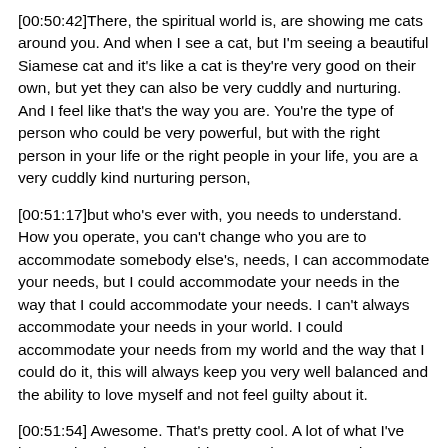[00:50:42]There, the spiritual world is, are showing me cats around you. And when I see a cat, but I'm seeing a beautiful Siamese cat and it's like a cat is they're very good on their own, but yet they can also be very cuddly and nurturing. And I feel like that's the way you are. You're the type of person who could be very powerful, but with the right person in your life or the right people in your life, you are a very cuddly kind nurturing person,
[00:51:17]but who's ever with, you needs to understand. How you operate, you can't change who you are to accommodate somebody else's, needs, I can accommodate your needs, but I could accommodate your needs in the way that I could accommodate your needs. I can't always accommodate your needs in your world. I could accommodate your needs from my world and the way that I could do it, this will always keep you very well balanced and the ability to love myself and not feel guilty about it.
[00:51:54] Awesome. That's pretty cool. A lot of what I've been going through, I would say, so that was good.